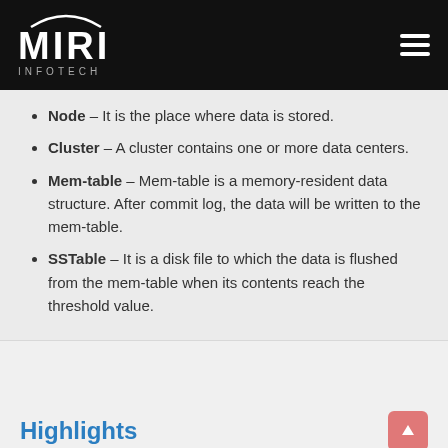MIRI INFOTECH
Node – It is the place where data is stored.
Cluster – A cluster contains one or more data centers.
Mem-table – Mem-table is a memory-resident data structure. After commit log, the data will be written to the mem-table.
SSTable – It is a disk file to which the data is flushed from the mem-table when its contents reach the threshold value.
Highlights